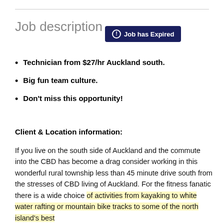Job description
[Figure (other): Dark navy badge overlay reading '⚠ Job has Expired']
Technician from $27/hr Auckland south.
Big fun team culture.
Don't miss this opportunity!
Client & Location information:
If you live on the south side of Auckland and the commute into the CBD has become a drag consider working in this wonderful rural township less than 45 minute drive south from the stresses of CBD living of Auckland. For the fitness fanatic there is a wide choice of activities from kayaking to white water rafting or mountain bike tracks to some of the north island's best